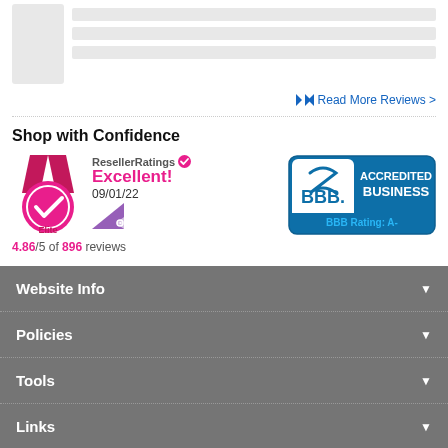[Figure (screenshot): Review card placeholder with avatar box and grey line placeholders]
Read More Reviews >
Shop with Confidence
[Figure (logo): ResellerRatings Elite badge — magenta medal with checkmark, Excellent! rating 4.86/5 of 896 reviews, dated 09/01/22]
[Figure (logo): BBB Accredited Business logo — teal/blue badge with BBB Rating: A-]
Website Info
Policies
Tools
Links